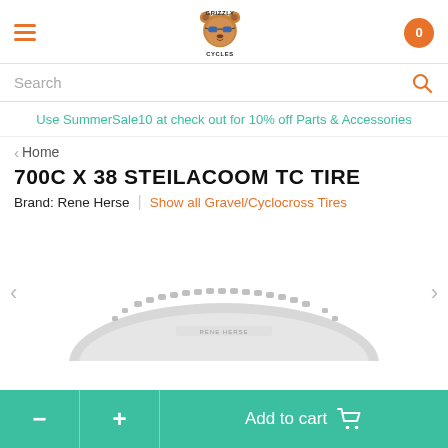Grizzly Cycles — navigation header with hamburger menu, logo, and cart (0)
Search
Use SummerSale10 at check out for 10% off Parts & Accessories
< Home
700C X 38 STEILACOOM TC TIRE
Brand: Rene Herse | Show all Gravel/Cyclocross Tires
[Figure (photo): A light grey Rene Herse 700C x 38 Steilacoom TC bicycle tire shown from above, displaying the tread pattern, with left and right navigation arrows on either side.]
- + Add to cart